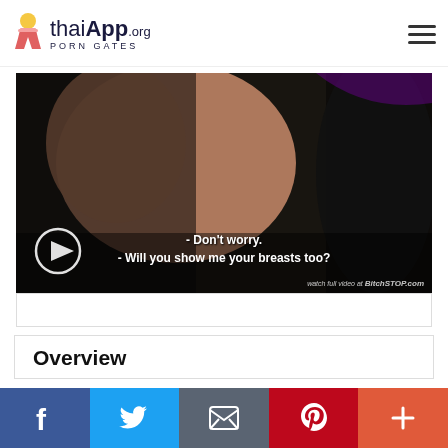thaiApp.org PORN GATES
[Figure (screenshot): Video thumbnail showing a dark scene with subtitle text: '- Don't worry. - Will you show me your breasts too?' and watermark 'watch full video at BitchSTOP.com'. Play button visible at bottom left.]
Overview
Facebook | Twitter | Email | Pinterest | More